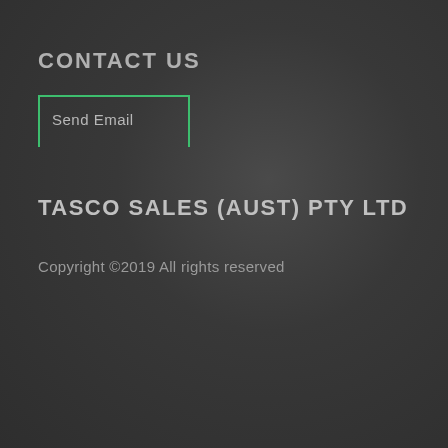CONTACT US
Send Email
TASCO SALES (AUST) PTY LTD
Copyright ©2019 All rights reserved